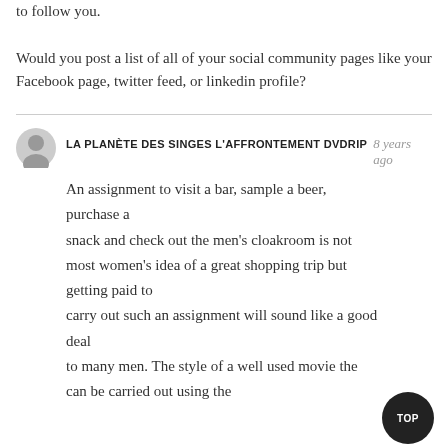to follow you.

Would you post a list of all of your social community pages like your Facebook page, twitter feed, or linkedin profile?
LA PLANÈTE DES SINGES L'AFFRONTEMENT DVDRIP  8 years ago

An assignment to visit a bar, sample a beer, purchase a snack and check out the men's cloakroom is not most women's idea of a great shopping trip but getting paid to carry out such an assignment will sound like a good deal to many men. The style of a well used movie the can be carried out using the